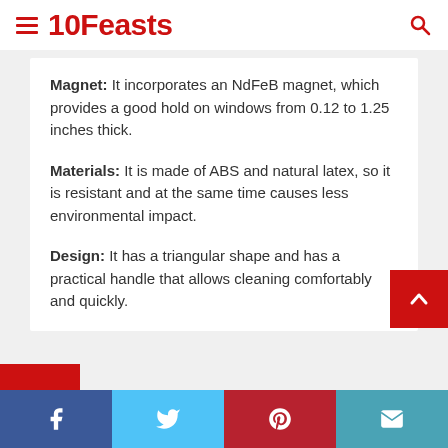10Feasts
Magnet: It incorporates an NdFeB magnet, which provides a good hold on windows from 0.12 to 1.25 inches thick.
Materials: It is made of ABS and natural latex, so it is resistant and at the same time causes less environmental impact.
Design: It has a triangular shape and has a practical handle that allows cleaning comfortably and quickly.